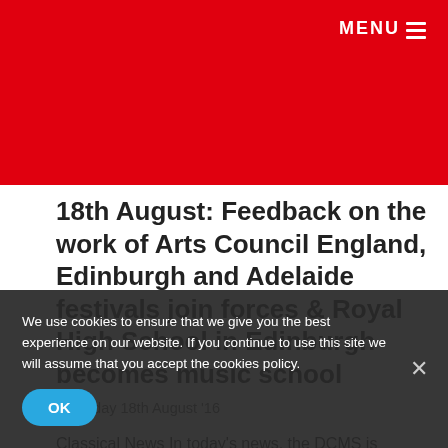MENU
18th August: Feedback on the work of Arts Council England, Edinburgh and Adelaide festivals join forces & Royal High School in Edinburgh becomes music school
Thursday 18th August '16
Classical News In today's news, the DCMS is inviting feedback on the work of Arts Council England (ACE), Edinburgh and Adelaide festivals join forces, and the Royal High School in Edinburgh becomes a music school. Also...
We use cookies to ensure that we give you the best experience on our website. If you continue to use this site we will assume that you accept the cookies policy.